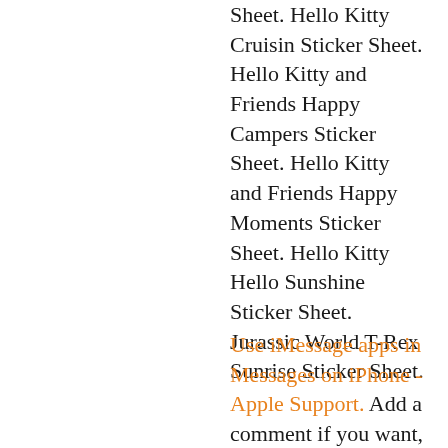Sheet. Hello Kitty Cruisin Sticker Sheet. Hello Kitty and Friends Happy Campers Sticker Sheet. Hello Kitty and Friends Happy Moments Sticker Sheet. Hello Kitty Hello Sunshine Sticker Sheet. Jurassic World T-Rex Sunrise Sticker Sheet.
Use iMessage apps in Messages on iPhone - Apple Support. Add a comment if you want, then tap to send your message or to cancel. Decorate with stickers. If...